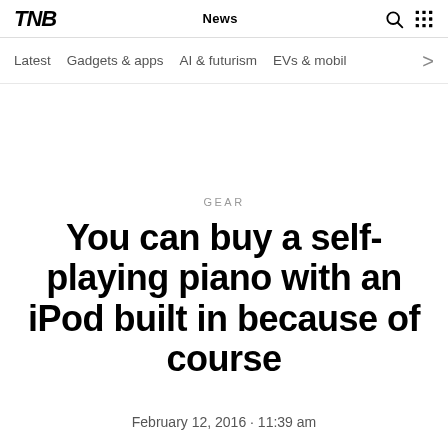TNB News
Latest  Gadgets & apps  AI & futurism  EVs & mobil >
GEAR
You can buy a self-playing piano with an iPod built in because of course
February 12, 2016 · 11:39 am